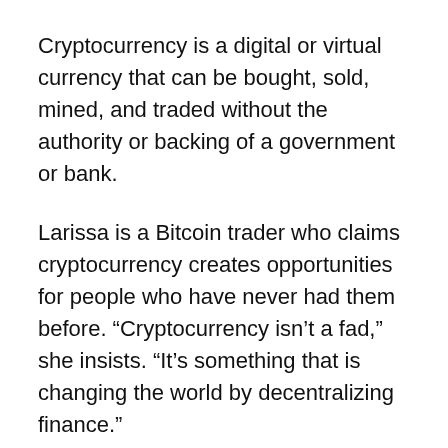Cryptocurrency is a digital or virtual currency that can be bought, sold, mined, and traded without the authority or backing of a government or bank.
Larissa is a Bitcoin trader who claims cryptocurrency creates opportunities for people who have never had them before. “Cryptocurrency isn’t a fad,” she insists. “It’s something that is changing the world by decentralizing finance.”
And while Larissa says she doesn’t believe that cryptocurrency will replace traditional money in her lifetime, she does say she thinks it has the potential to become the world’s reserve currency and that it’s an “antidote” to inequality and corruption in the